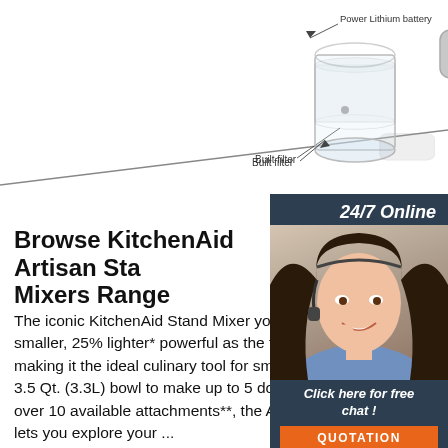[Figure (illustration): Product diagram showing a transparent filter component with 'Built filter' label and arrow, and a grey power lithium battery component with 'Power Lithium battery' label and arrow. Below is a faded/mirrored repeat of the same components. A diagonal line divides the image sections.]
[Figure (photo): Chat widget with dark navy background showing '24/7 Online' header, a photo of a smiling woman with headset (customer service agent), 'Click here for free chat!' text, and an orange 'QUOTATION' button.]
Browse KitchenAid Artisan Stand Mixers Range
The iconic KitchenAid Stand Mixer you love is now 20% smaller, 25% lighter* powerful as the full size tilt-head stand making it the ideal culinary tool for smaller kitchens. With a 3.5 Qt. (3.3L) bowl to make up to 5 dozen cookies and with over 10 available attachments**, the Artisan Mini Stand Mixer lets you explore your ...